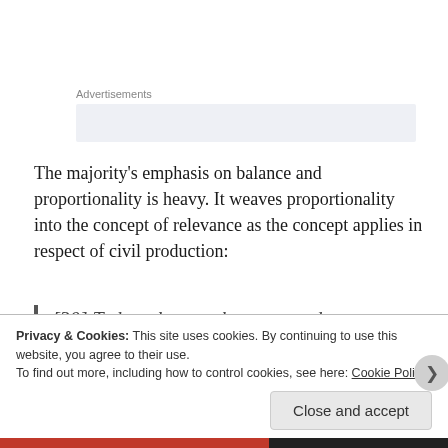Advertisements
The majority's emphasis on balance and proportionality is heavy. It weaves proportionality into the concept of relevance as the concept applies in respect of civil production:
[30] To be relevant, the requested
Privacy & Cookies: This site uses cookies. By continuing to use this website, you agree to their use.
To find out more, including how to control cookies, see here: Cookie Policy
Close and accept